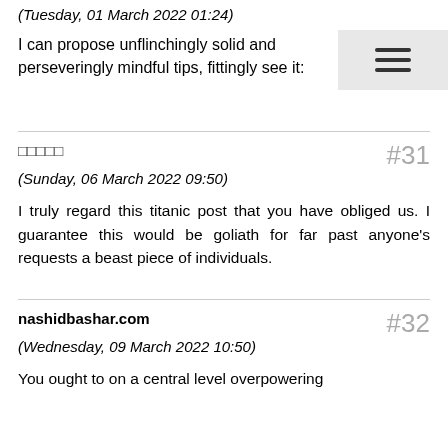(Tuesday, 01 March 2022 01:24)
I can propose unflinchingly solid and perseveringly mindful tips, fittingly see it:
□□□□□
(Sunday, 06 March 2022 09:50)
I truly regard this titanic post that you have obliged us. I guarantee this would be goliath for far past anyone's requests a beast piece of individuals.
nashidbashar.com
(Wednesday, 09 March 2022 10:50)
You ought to on a central level overpowering